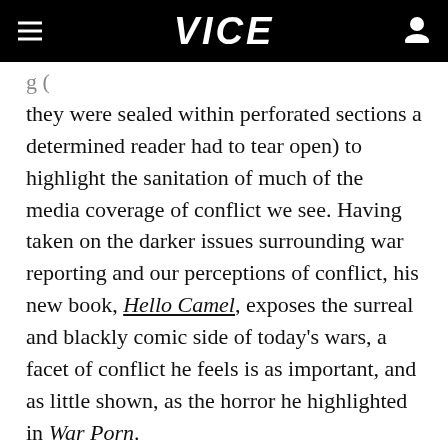VICE
they were sealed within perforated sections a determined reader had to tear open) to highlight the sanitation of much of the media coverage of conflict we see. Having taken on the darker issues surrounding war reporting and our perceptions of conflict, his new book, Hello Camel, exposes the surreal and blackly comic side of today's wars, a facet of conflict he feels is as important, and as little shown, as the horror he highlighted in War Porn.
VICE: How did the images in Hello Camel come together? I assume that these are more a